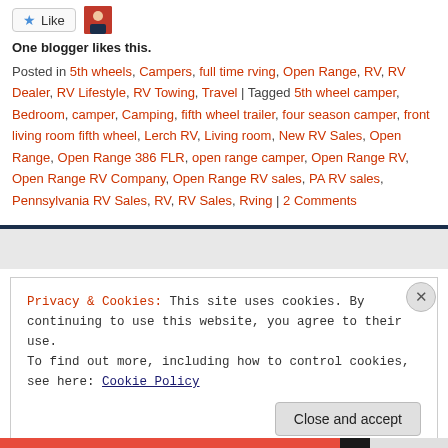One blogger likes this.
Posted in 5th wheels, Campers, full time rving, Open Range, RV, RV Dealer, RV Lifestyle, RV Towing, Travel | Tagged 5th wheel camper, Bedroom, camper, Camping, fifth wheel trailer, four season camper, front living room fifth wheel, Lerch RV, Living room, New RV Sales, Open Range, Open Range 386 FLR, open range camper, Open Range RV, Open Range RV Company, Open Range RV sales, PA RV sales, Pennsylvania RV Sales, RV, RV Sales, Rving | 2 Comments
Privacy & Cookies: This site uses cookies. By continuing to use this website, you agree to their use.
To find out more, including how to control cookies, see here: Cookie Policy